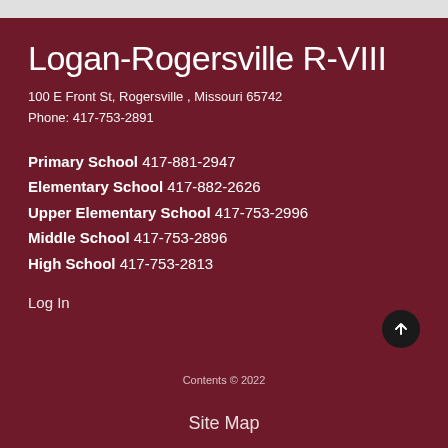Logan-Rogersville R-VIII
100 E Front St, Rogersville , Missouri 65742
Phone: 417-753-2891
Primary School 417-881-2947
Elementary School 417-882-2626
Upper Elementary School 417-753-2996
Middle School 417-753-2896
High School 417-753-2813
Log In
Contents © 2022
Site Map